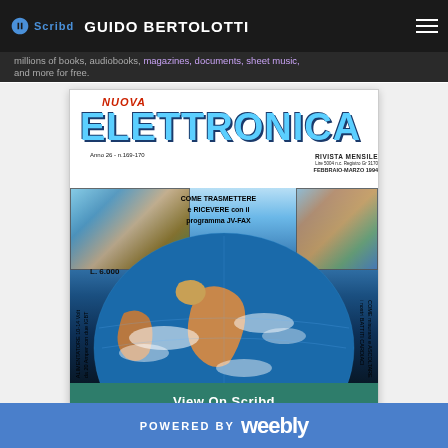Scribd — GUIDO BERTOLOTTI
millions of books, audiobooks, magazines, documents, sheet music, and more for free.
[Figure (photo): Cover of Italian electronics magazine 'Nuova Elettronica', Anno 26 n.169-170, Rivista Mensile, Febbraio-Marzo 1994, L. 6.000. Shows globe imagery with text about JV-FAX program, ALIMENTATORE 10-14 Volt, and BATTITI CARDIACI.]
View On Scribd
POWERED BY weebly